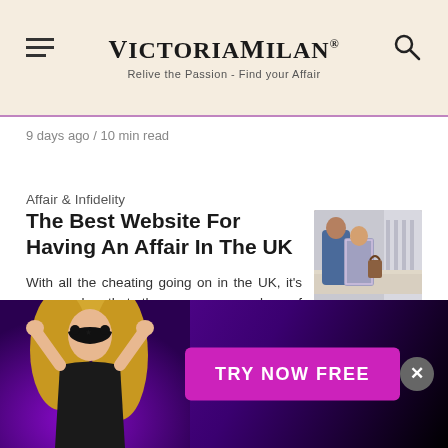VictoriaMilan® — Relive the Passion - Find your Affair
9 days ago / 10 min read
Affair & Infidelity
The Best Website For Having An Affair In The UK
With all the cheating going on in the UK, it's no wonder that there are a number of websites that…
[Figure (photo): Couple walking away together, woman in patterned jacket with handbag, man in denim jacket, with a bridge or railing in the background]
9 days ago / 10 min read
[Figure (photo): Promotional banner for Victoria Milan featuring a blonde woman in a black mask and corset on a dark purple/black background with a pink 'TRY NOW FREE' button and a close (X) button]